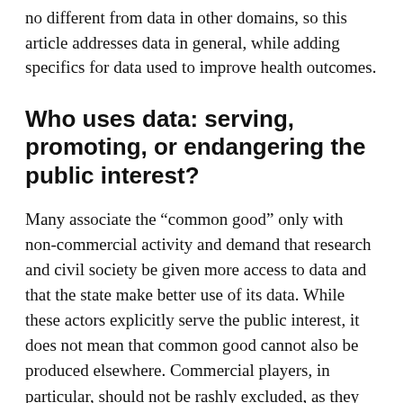no different from data in other domains, so this article addresses data in general, while adding specifics for data used to improve health outcomes.
Who uses data: serving, promoting, or endangering the public interest?
Many associate the “common good” only with non-commercial activity and demand that research and civil society be given more access to data and that the state make better use of its data. While these actors explicitly serve the public interest, it does not mean that common good cannot also be produced elsewhere. Commercial players, in particular, should not be rashly excluded, as they often generate common good, even if it is just a by-product – the benefit of a service or good beyond its commercial